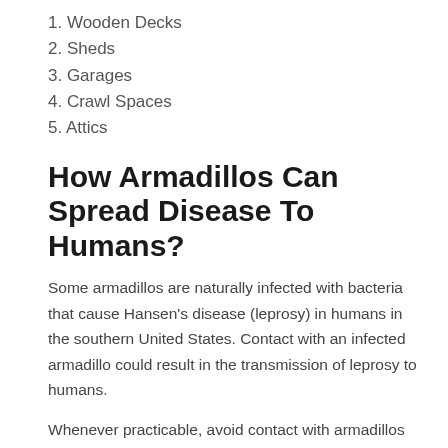1. Wooden Decks
2. Sheds
3. Garages
4. Crawl Spaces
5. Attics
How Armadillos Can Spread Disease To Humans?
Some armadillos are naturally infected with bacteria that cause Hansen's disease (leprosy) in humans in the southern United States. Contact with an infected armadillo could result in the transmission of leprosy to humans.
Whenever practicable, avoid contact with armadillos for general health purposes. It can be extremely difficult to identify an armadillo. Contact